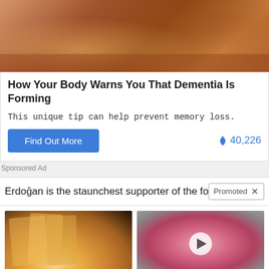[Figure (photo): Close-up medical/skin photo at top of ad card]
How Your Body Warns You That Dementia Is Forming
This unique tip can help prevent memory loss.
Find Out More   🔥 40,226
Sponsored Ad
Erdoğan is the staunchest supporter of the for  Promoted  ×
[Figure (photo): Close-up photo of yellowed fingernails/hands for dementia warning signs article]
4 Warning Signs Of Dementia (#2 Is Creepy)
🔥 30,704
[Figure (photo): Medical illustration of enlarged prostate with video play button overlay]
Urologist: Plenty Of Men With An Enlarged Prostate Do Not Know About This Simple Solution
🔥 2,878